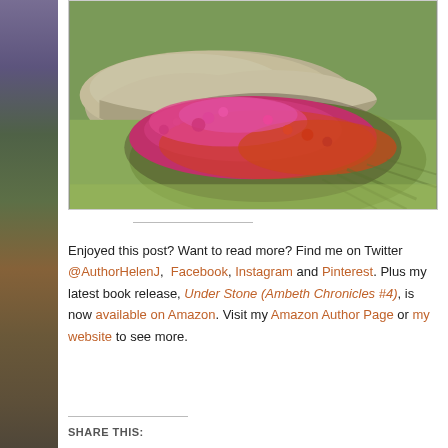[Figure (photo): A large flat rock surrounded by green grass with a spreading mound of bright pink and orange heather flowers growing alongside and over the rock, photographed outdoors in sunlight.]
Enjoyed this post? Want to read more? Find me on Twitter @AuthorHelenJ, Facebook, Instagram and Pinterest. Plus my latest book release, Under Stone (Ambeth Chronicles #4), is now available on Amazon. Visit my Amazon Author Page or my website to see more.
SHARE THIS: